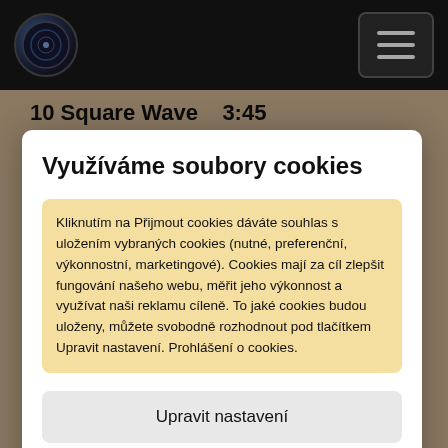10 Square Wave   3:45
Využíváme soubory cookies
Kliknutím na Přijmout cookies dáváte souhlas s uložením vybraných cookies (nutné, preferenční, výkonnostní, marketingové). Cookies mají za cíl zlepšit fungování našeho webu, měřit jeho výkonnost a využívat naši reklamu cíleně. To jaké cookies budou uloženy, můžete svobodně rozhodnout pod tlačítkem Upravit nastavení. Prohlášení o cookies.
Upravit nastavení
Přijmout cookies
Mike Burnham Drums, Oud